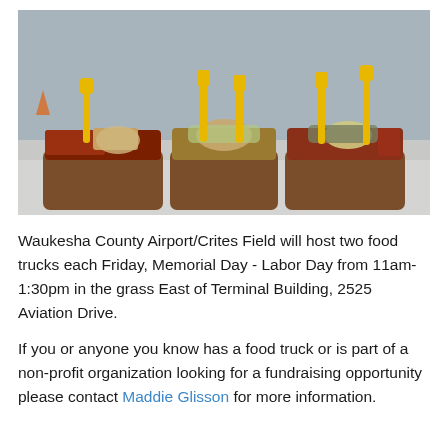[Figure (photo): Three brown cardboard food trays filled with food items, each with a yellow plastic fork sticking up, displayed on a light grey surface outdoors.]
Waukesha County Airport/Crites Field will host two food trucks each Friday, Memorial Day - Labor Day from 11am-1:30pm in the grass East of Terminal Building, 2525 Aviation Drive.
If you or anyone you know has a food truck or is part of a non-profit organization looking for a fundraising opportunity please contact Maddie Glisson for more information.